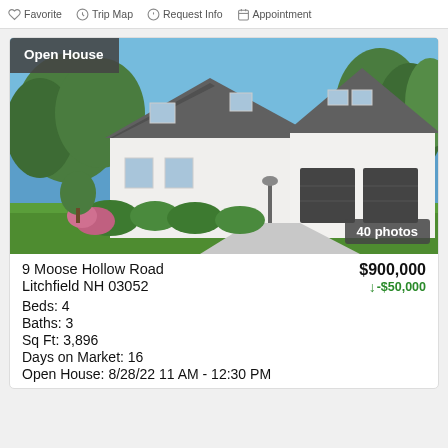Favorite  Trip Map  Request Info  Appointment
[Figure (photo): Exterior photo of a white colonial-style house with three-car garage, green landscaping, and blue sky. Open House badge top-left, 40 photos badge bottom-right.]
9 Moose Hollow Road
Litchfield NH 03052
$900,000
↓-$50,000
Beds: 4
Baths: 3
Sq Ft: 3,896
Days on Market: 16
Open House: 8/28/22 11 AM - 12:30 PM